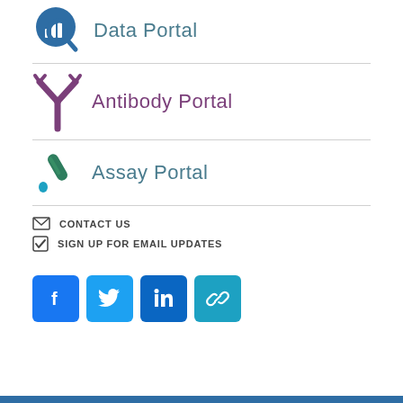[Figure (logo): Data Portal icon with bar chart and magnifying glass]
Data Portal
[Figure (logo): Antibody Portal icon with Y-shaped antibody symbol]
Antibody Portal
[Figure (logo): Assay Portal icon with test tube and drop]
Assay Portal
CONTACT US
SIGN UP FOR EMAIL UPDATES
[Figure (logo): Social media icons: Facebook, Twitter, LinkedIn, Link]